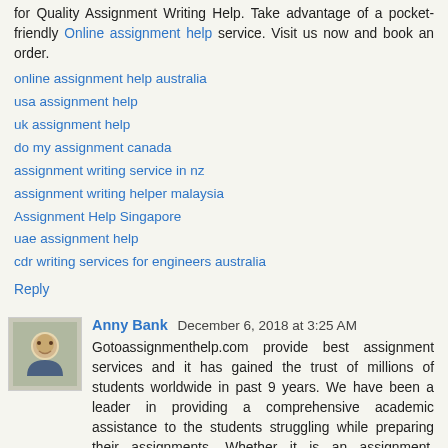for Quality Assignment Writing Help. Take advantage of a pocket-friendly Online assignment help service. Visit us now and book an order.
online assignment help australia
usa assignment help
uk assignment help
do my assignment canada
assignment writing service in nz
assignment writing helper malaysia
Assignment Help Singapore
uae assignment help
cdr writing services for engineers australia
Reply
Anny Bank  December 6, 2018 at 3:25 AM
Gotoassignmenthelp.com provide best assignment services and it has gained the trust of millions of students worldwide in past 9 years. We have been a leader in providing a comprehensive academic assistance to the students struggling while preparing their assignments. Whether it is an assignment, homework, reporter any other